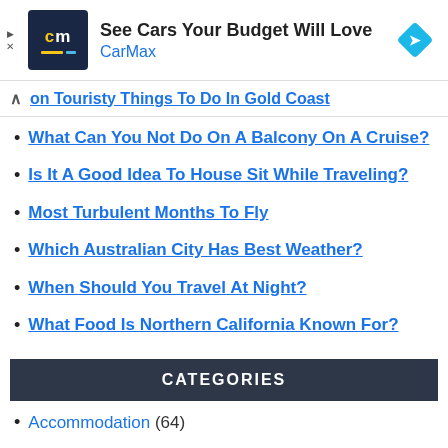[Figure (other): CarMax advertisement banner with logo and arrow icon. Headline: See Cars Your Budget Will Love. Brand: CarMax]
on Touristy Things To Do In Gold Coast
What Can You Not Do On A Balcony On A Cruise?
Is It A Good Idea To House Sit While Traveling?
Most Turbulent Months To Fly
Which Australian City Has Best Weather?
When Should You Travel At Night?
What Food Is Northern California Known For?
CATEGORIES
Accommodation (64)